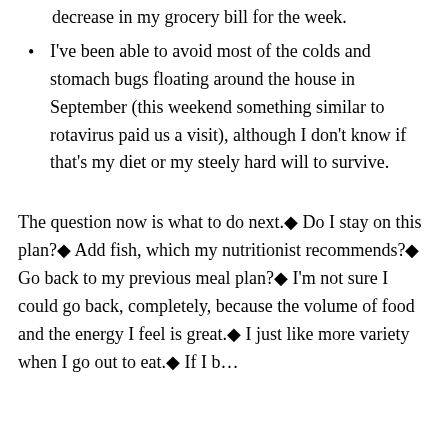decrease in my grocery bill for the week.
I've been able to avoid most of the colds and stomach bugs floating around the house in September (this weekend something similar to rotavirus paid us a visit), although I don't know if that's my diet or my steely hard will to survive.
The question now is what to do next.◆ Do I stay on this plan?◆ Add fish, which my nutritionist recommends?◆ Go back to my previous meal plan?◆ I'm not sure I could go back, completely, because the volume of food and the energy I feel is great.◆ I just like more variety when I go out to eat.◆ If I be…